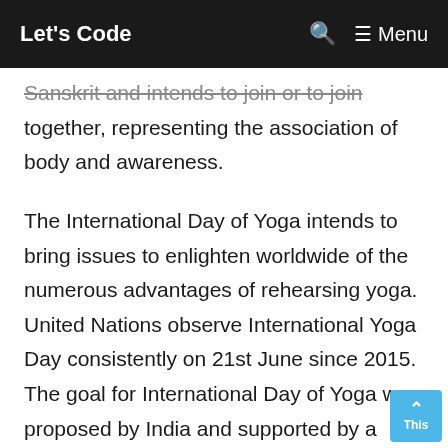Let's Code  🔍  ≡ Menu
Sanskrit and intends to join or to join together, representing the association of body and awareness.
The International Day of Yoga intends to bring issues to enlighten worldwide of the numerous advantages of rehearsing yoga. United Nations observe International Yoga Day consistently on 21st June since 2015. The goal for International Day of Yoga was proposed by India and supported by a record 175 part states through UN goal 69/131. This year the subject of International Yoga Day